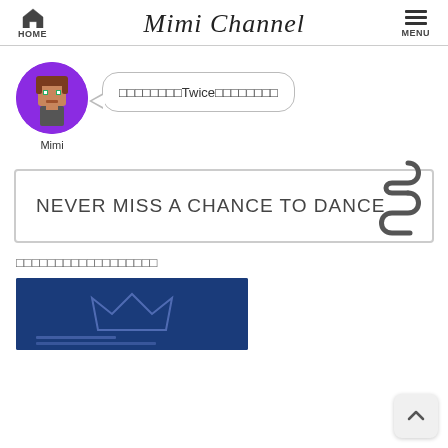Mimi Channel
[Figure (illustration): Pixel-art avatar of a character with purple circular background]
□□□□□□□□Twice□□□□□□□□
Mimi
NEVER MISS A CHANCE TO DANCE
□□□□□□□□□□□□□□□□□□
[Figure (photo): Dark blue thumbnail image with crown/decorative graphic]